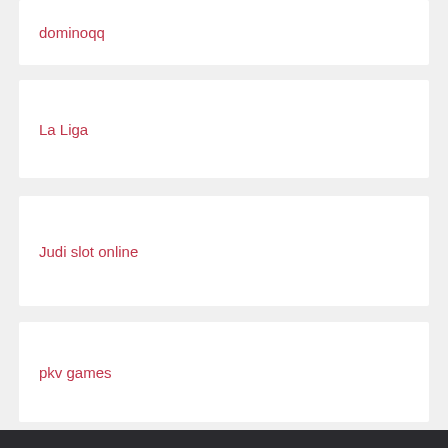dominoqq
La Liga
Judi slot online
pkv games